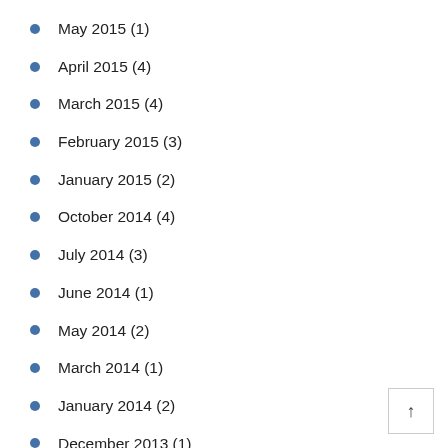May 2015 (1)
April 2015 (4)
March 2015 (4)
February 2015 (3)
January 2015 (2)
October 2014 (4)
July 2014 (3)
June 2014 (1)
May 2014 (2)
March 2014 (1)
January 2014 (2)
December 2013 (1)
October 2013 (1)